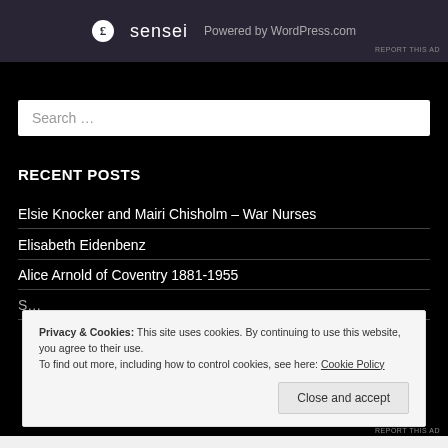[Figure (screenshot): Dark banner with sensei logo circle and WordPress powered text]
REPORT THIS AD
Search ...
RECENT POSTS
Elsie Knocker and Mairi Chisholm – War Nurses
Elisabeth Eidenbenz
Alice Arnold of Coventry 1881-1955
S...
Privacy & Cookies: This site uses cookies. By continuing to use this website, you agree to their use.
To find out more, including how to control cookies, see here: Cookie Policy
Close and accept
REPORT THIS AD